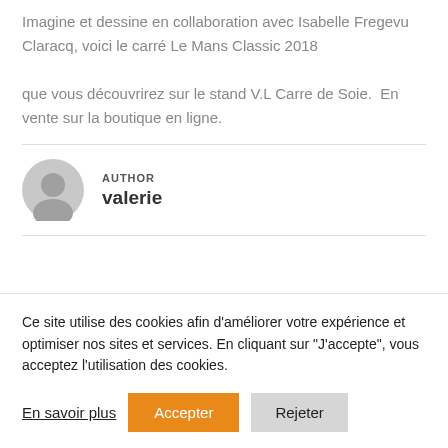Imagine et dessine en collaboration avec Isabelle Fregevu Claracq, voici le carré Le Mans Classic 2018

que vous découvrirez sur le stand V.L Carre de Soie.  En vente sur la boutique en ligne.
AUTHOR
valerie
Ce site utilise des cookies afin d'améliorer votre expérience et optimiser nos sites et services. En cliquant sur "J'accepte", vous acceptez l'utilisation des cookies.
En savoir plus  Accepter  Rejeter